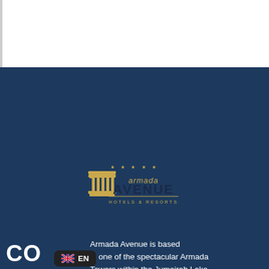[Figure (logo): Armada Avenue Hotels & Resorts logo on dark blue background with gold pillar icon and stars]
Armada Avenue is based in one of the spectacular Armada Towers within the Jumeirah Lake Towers district of Dubai.
CO
[Figure (other): EN language selector badge with US flag icon on dark background]